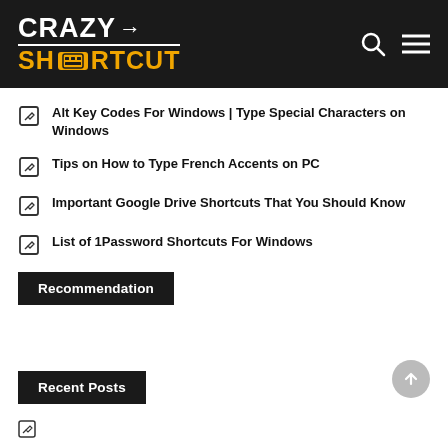CRAZY SHORTCUT
Alt Key Codes For Windows | Type Special Characters on Windows
Tips on How to Type French Accents on PC
Important Google Drive Shortcuts That You Should Know
List of 1Password Shortcuts For Windows
Recommendation
Recent Posts